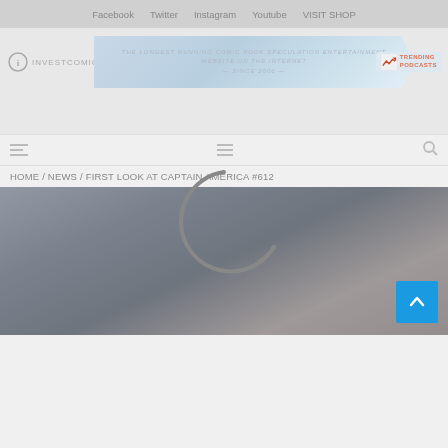Facebook  Twitter  Instagram  Youtube  VISIT SHOP
[Figure (logo): InvestComics logo banner with 'The longest running comic book speculation entertainment website on the internet since 2006' text and Trending Podcasts logo on right]
[Figure (other): Loading spinner (circular arc) overlaid on the page]
HOME / NEWS / FIRST LOOK AT CAPTAIN AMERICA #612
[Figure (photo): Article header image showing dark/muted photo, with blue scroll-to-top button in bottom right corner]